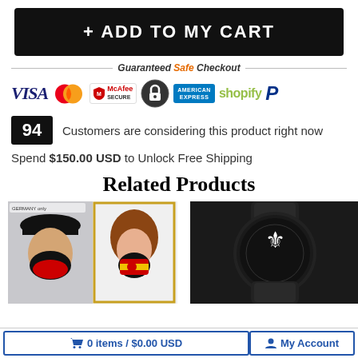+ ADD TO MY CART
Guaranteed Safe Checkout
[Figure (logo): Payment method icons: VISA, MasterCard, McAfee Secure, padlock/secure badge, American Express, Shopify, PayPal]
94 Customers are considering this product right now
Spend $150.00 USD to Unlock Free Shipping
Related Products
[Figure (photo): Two product images: man wearing black cap with face mask showing German/Venezuelan design, and woman wearing colorful face mask]
[Figure (photo): Black watch with decorative face]
0 items / $0.00 USD
My Account